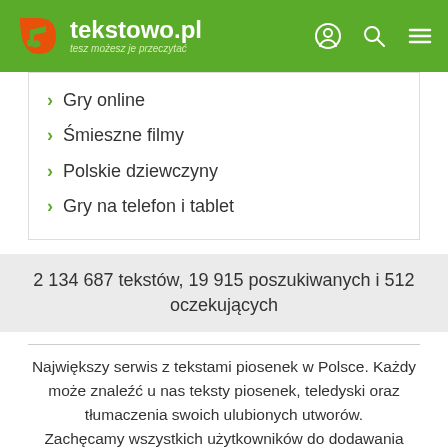tekstowo.pl – tesz możesz je przeczytać
Gry online
Śmieszne filmy
Polskie dziewczyny
Gry na telefon i tablet
2 134 687 tekstów, 19 915 poszukiwanych i 512 oczekujących
Największy serwis z tekstami piosenek w Polsce. Każdy może znaleźć u nas teksty piosenek, teledyski oraz tłumaczenia swoich ulubionych utworów. Zachęcamy wszystkich użytkowników do dodawania nowych tekstów, tłumaczeń i teledysków!
Reklama | Kontakt | FAQ Polityka prywatności